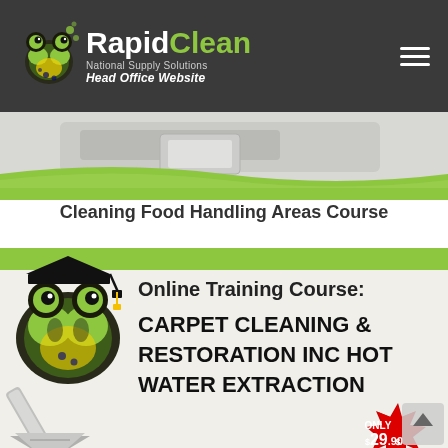[Figure (logo): RapidClean logo with green frog mascot, white 'Rapid' text and green 'Clean' text, tagline 'National Supply Solutions', subtitle 'Head Office Website']
[Figure (photo): Green and white wave banner with a cleaning product or surface in the background]
Cleaning Food Handling Areas Course
[Figure (infographic): Online Training Course promotional banner: 'Online Training Course: CARPET CLEANING & RESTORATION INC HOT WATER EXTRACTION' with a green frog mascot wearing graduation cap, carpet cleaning wand tool, and red starburst price badge showing 'ONLY $29.90']